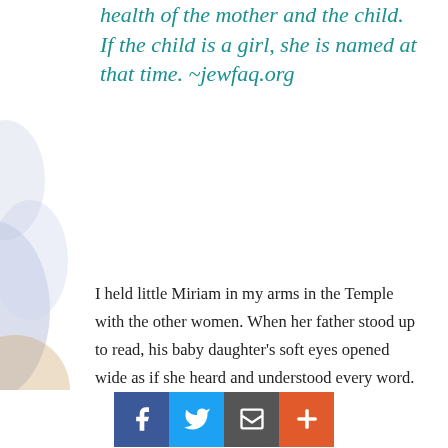health of the mother and the child. If the child is a girl, she is named at that time. ~jewfaq.org
I held little Miriam in my arms in the Temple with the other women. When her father stood up to read, his baby daughter’s soft eyes opened wide as if she heard and understood every word.
I trembled, not knowing why.
I knew what Joachim would read, and he did not surprise me.
“Miriam the prophetess …
[Figure (other): Social sharing bar with Facebook, Twitter, email/envelope, and plus buttons]